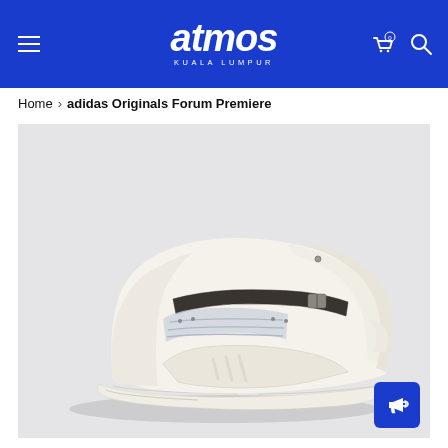atmos KUALA LUMPUR
Home > adidas Originals Forum Premiere
[Figure (photo): White/cream adidas Originals Forum Premiere high-top sneaker on a light grey background, shown from the side, featuring a velcro ankle strap and thick rubber sole.]